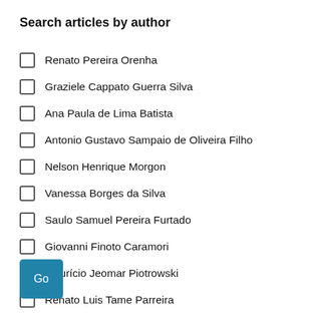Search articles by author
Renato Pereira Orenha
Graziele Cappato Guerra Silva
Ana Paula de Lima Batista
Antonio Gustavo Sampaio de Oliveira Filho
Nelson Henrique Morgon
Vanessa Borges da Silva
Saulo Samuel Pereira Furtado
Giovanni Finoto Caramori
Maurício Jeomar Piotrowski
Renato Luis Tame Parreira